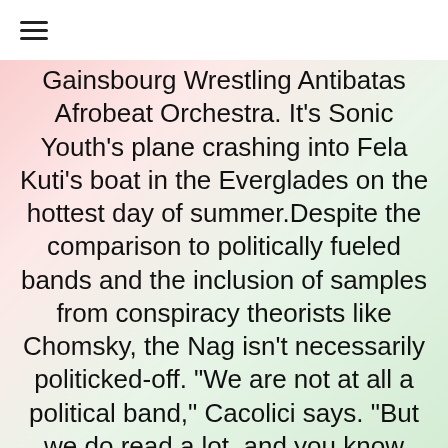≡
Gainsbourg Wrestling Antibatas Afrobeat Orchestra. It's Sonic Youth's plane crashing into Fela Kuti's boat in the Everglades on the hottest day of summer. Despite the comparison to politically fueled bands and the inclusion of samples from conspiracy theorists like Chomsky, the Nag isn't necessarily politicked-off. "We are not at all a political band," Cacolici says. "But we do read a lot, and you know where that leads. I incorporate the Noam Chomsky sample as an intellectual spur, with the focus on content, not intent. Really, we're about everything. We started out with